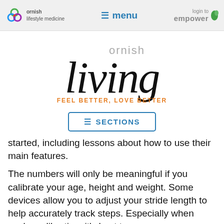ornish lifestyle medicine | menu | login to empower
[Figure (logo): Ornish Living logo with tagline FEEL BETTER, LOVE BETTER]
[Figure (other): SECTIONS button with hamburger icon]
started, including lessons about how to use their main features.
The numbers will only be meaningful if you calibrate your age, height and weight. Some devices allow you to adjust your stride length to help accurately track steps. Especially when you're calibrating, it's best to use your non-dominant wrist because you'll move your dominant wrist more and that can make the